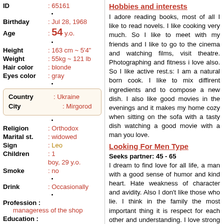| ID | : 65161 |
| Birthday | : Jul 28, 1968 |
| Age | : 54 y.o. |
| Height | : 163 cm ~ 5'4" |
| Weight | : 55kg ~ 121 lb |
| Hair color | : blonde |
| Eyes color | : gray |
| Country | : Ukraine |
| City | : Mirgorod |
| Religion | : Orthodox |
| Marital st. | : widowed |
| Sign | : Leo |
| Children | : 1 |
|  | boy, 29 y.o. |
| Smoke | : no |
| Drink | : Occasionally |
| Profession | : manageress of the shop |
| Education | : secondary-speci |
Hobbies and interests
I adore reading books, most of all I like to read novels. I like cooking very much. So I like to meet with my friends and I like to go to the cinema and watching films, visit theatre. Photographing and fitness i love also. So I like active rest.s: I am a natural born cook. I like to mix diffirent ingredients and to compose a new dish. I also like good movies in the evenings and it makes my home cozy when sitting on the sofa with a tasty dish watching a good movie with a man you love.
Looking For Men Type
Seeks partner: 45 - 65
I dream to find love for all life, a man with a good sense of humor and kind heart. Hate weakness of character and avidity. Also I don't like those who lie. I think in the family the most important thing it is respect for each other and understanding. I love strong and passionate men.
About me
I can say about myself that I am sociable, purposeful person. I appreciate in the people such